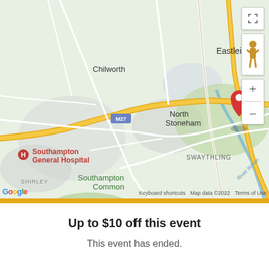[Figure (map): Google Maps screenshot showing Southampton area including North Stoneham with red location pin, Southampton General Hospital, Itchen Valley Country Park, Eastleigh, Chilworth, Fair Oak, Swaythling, Midanbury, Moorgreen, West End, Southampton Common. M27 motorway visible. River Itchen shown. Map data ©2022.]
Up to $10 off this event
This event has ended.